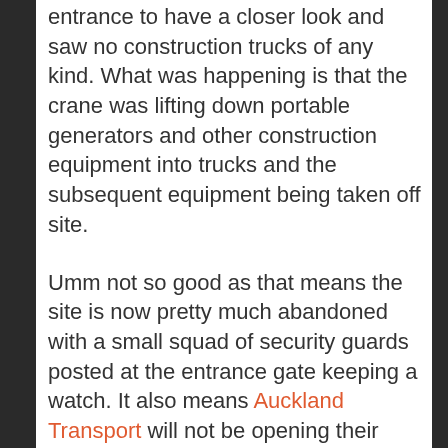entrance to have a closer look and saw no construction trucks of any kind. What was happening is that the crane was lifting down portable generators and other construction equipment into trucks and the subsequent equipment being taken off site.
Umm not so good as that means the site is now pretty much abandoned with a small squad of security guards posted at the entrance gate keeping a watch. It also means Auckland Transport will not be opening their new transport interchange at the same time in June (which was already a